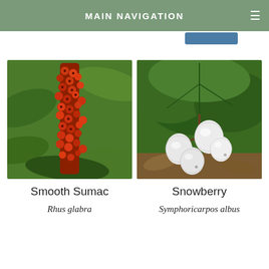MAIN NAVIGATION
[Figure (photo): Smooth Sumac plant with dense cluster of small red berries surrounded by green leaves]
Smooth Sumac
Rhus glabra
[Figure (photo): Snowberry plant with white round berries hanging beneath large green leaves]
Snowberry
Symphoricarpos albus